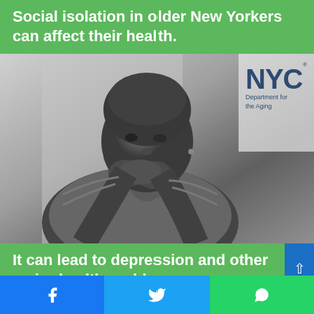Social isolation in older New Yorkers can affect their health.
[Figure (photo): Black and white photograph of an older Black woman with short grey hair, resting her chin on her clasped hands, looking pensively to the side. NYC Department for the Aging logo in the upper right corner of the photo.]
It can lead to depression and other major health problems.
Facebook share | Twitter share | WhatsApp share